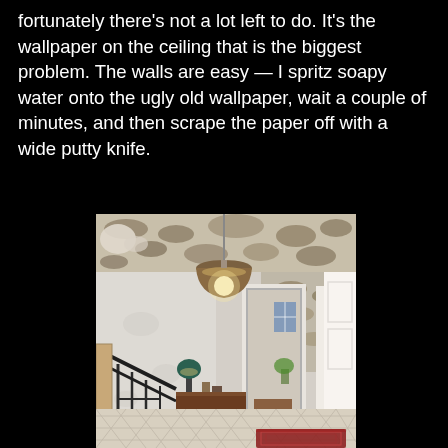fortunately there's not a lot left to do. It's the wallpaper on the ceiling that is the biggest problem. The walls are easy — I spritz soapy water onto the ugly old wallpaper, wait a couple of minutes, and then scrape the paper off with a wide putty knife.
[Figure (photo): Interior room photo showing a hallway/landing area with wallpaper partially removed from the ceiling (mottled texture visible), a pendant lamp hanging from the ceiling, bare white walls, a wooden sideboard with a lamp in the background, a doorway leading to another room, staircase railing in the foreground left, diamond-pattern tile floor, and a red rug in the lower right corner.]